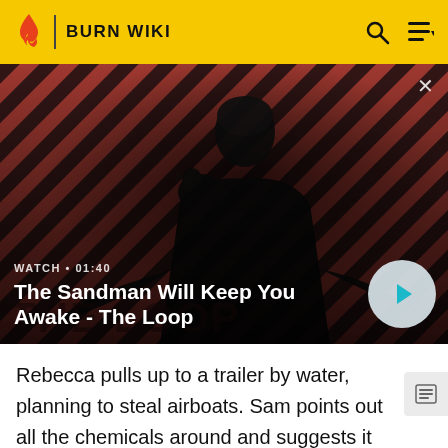BURN WIKI
[Figure (screenshot): Hero image of The Sandman character (dark-cloaked figure with a raven on shoulder) against a red and dark diagonal striped background. Overlay shows WATCH • 01:40 and title 'The Sandman Will Keep You Awake - The Loop' with a play button.]
Rebecca pulls up to a trailer by water, planning to steal airboats. Sam points out all the chemicals around and suggests it means the men are cooking meth and probably aren't going to like having their boat stolen. Sam argues against killing anyone.